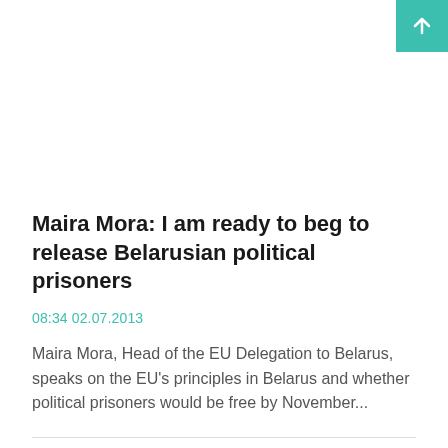[Figure (other): Teal/green scroll-to-top button with upward arrow in top-right corner]
Maira Mora: I am ready to beg to release Belarusian political prisoners
08:34 02.07.2013
Maira Mora, Head of the EU Delegation to Belarus, speaks on the EU's principles in Belarus and whether political prisoners would be free by November...